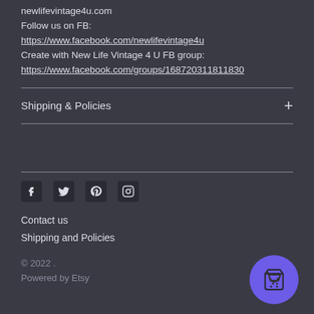newlifevintage4u.com
Follow us on FB:
https://www.facebook.com/newlifevintage4u
Create with New Life Vintage 4 U FB group:
https://www.facebook.com/groups/168720311811830
Shipping & Policies
[Figure (other): Social media icons: Facebook, Twitter, Pinterest, Instagram]
Contact us
Shipping and Policies
© 2022 .
Powered by Etsy